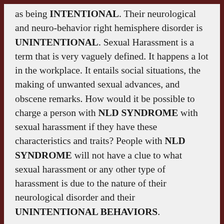as being INTENTIONAL. Their neurological and neuro-behavior right hemisphere disorder is UNINTENTIONAL. Sexual Harassment is a term that is very vaguely defined. It happens a lot in the workplace. It entails social situations, the making of unwanted sexual advances, and obscene remarks. How would it be possible to charge a person with NLD SYNDROME with sexual harassment if they have these characteristics and traits? People with NLD SYNDROME will not have a clue to what sexual harassment or any other type of harassment is due to the nature of their neurological disorder and their UNINTENTIONAL BEHAVIORS.
My advice to all parents is finding a neuro-psychologist or psychiatrist that has had years of knowledge, training, and experience in the field of